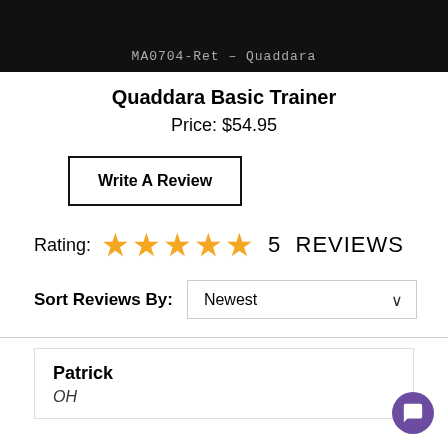[Figure (photo): Product image with dark background showing text 'MA0704-Ret - Quaddara']
Quaddara Basic Trainer
Price: $54.95
Write A Review
Rating: ★★★★★ 5 REVIEWS
Sort Reviews By: Newest
Patrick
OH